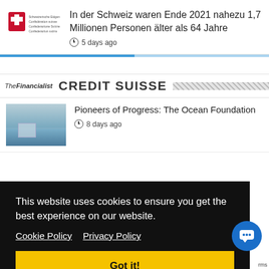[Figure (logo): Swiss federal administration logo with shield icon and multi-language text]
In der Schweiz waren Ende 2021 nahezu 1,7 Millionen Personen älter als 64 Jahre
5 days ago
[Figure (logo): TheFinancialist and CREDIT SUISSE publisher header with hatched fill]
[Figure (photo): Article thumbnail image showing ocean/seascape scene]
Pioneers of Progress: The Ocean Foundation
8 days ago
This website uses cookies to ensure you get the best experience on our website. Cookie Policy   Privacy Policy
Got it!
15 days ago